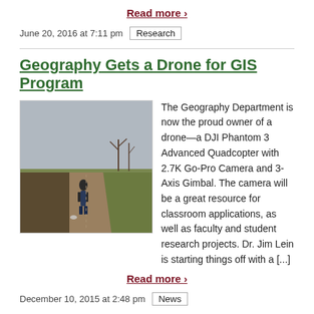Read more ›
June 20, 2016 at 7:11 pm   Research
Geography Gets a Drone for GIS Program
[Figure (photo): A person standing on a dirt road in a field, holding or operating a small drone. Bare trees in the background. Outdoors, overcast day.]
The Geography Department is now the proud owner of a drone—a DJI Phantom 3 Advanced Quadcopter with 2.7K Go-Pro Camera and 3-Axis Gimbal. The camera will be a great resource for classroom applications, as well as faculty and student research projects. Dr. Jim Lein is starting things off with a [...]
Read more ›
December 10, 2015 at 2:48 pm   News